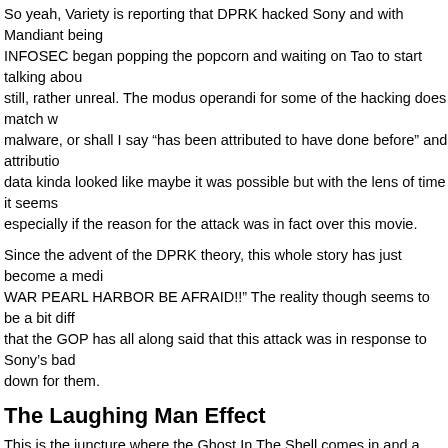So yeah, Variety is reporting that DPRK hacked Sony and with Mandiant being INFOSEC began popping the popcorn and waiting on Tao to start talking abou still, rather unreal. The modus operandi for some of the hacking does match w malware, or shall I say “has been attributed to have done before” and attributio data kinda looked like maybe it was possible but with the lens of time it seems especially if the reason for the attack was in fact over this movie.
Since the advent of the DPRK theory, this whole story has just become a medi WAR PEARL HARBOR BE AFRAID!!” The reality though seems to be a bit diff that the GOP has all along said that this attack was in response to Sony’s bad down for them.
The Laughing Man Effect
This is the juncture where the Ghost In The Shell comes in and a certain arc i Complex. If you are a fan you might remember the series of episodes concern we are introduced to a hacker who appears from nowhere and begins a campa misdeeds. In particular one company that was colluding in surveillance and st you to watch.
What happens though is that The Laughing Man takes on the corporation and they had done as well as effects their bottom line greatly financially as well as spectacular nature of the hack though, on live TV in this future Japan that got c Laughing Man and what he had done. If you have not seen the series there is